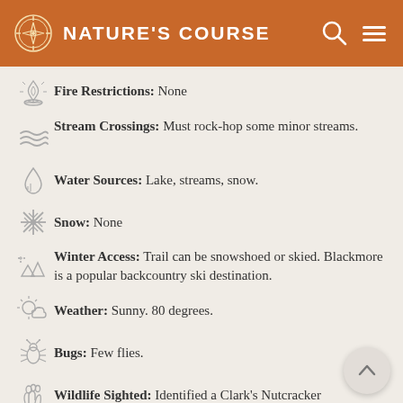NATURE'S COURSE
Fire Restrictions: None
Stream Crossings: Must rock-hop some minor streams.
Water Sources: Lake, streams, snow.
Snow: None
Winter Access: Trail can be snowshoed or skied. Blackmore is a popular backcountry ski destination.
Weather: Sunny. 80 degrees.
Bugs: Few flies.
Wildlife Sighted: Identified a Clark's Nutcracker
Side Quests: Elephant Mountain.